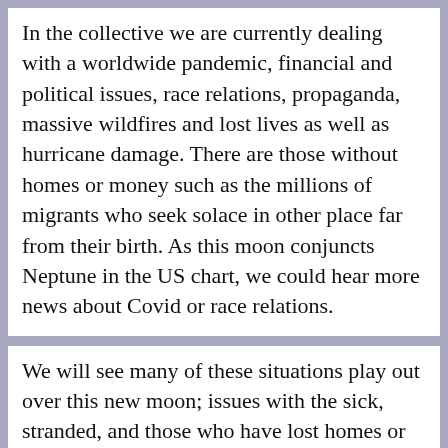In the collective we are currently dealing with a worldwide pandemic, financial and political issues, race relations, propaganda, massive wildfires and lost lives as well as hurricane damage. There are those without homes or money such as the millions of migrants who seek solace in other place far from their birth. As this moon conjuncts Neptune in the US chart, we could hear more news about Covid or race relations.
We will see many of these situations play out over this new moon; issues with the sick, stranded, and those who have lost homes or loved ones. We will also watch those who come to the forefront to help and serve as well as others who bury their heads in the sand. Of course everyone